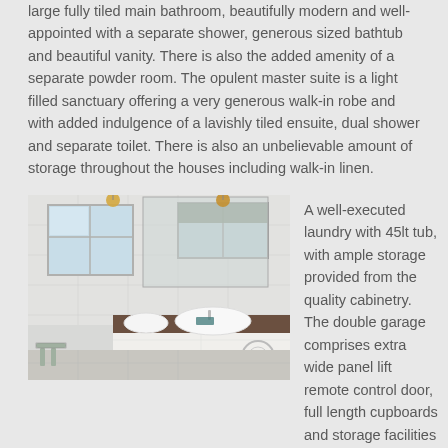large fully tiled main bathroom, beautifully modern and well-appointed with a separate shower, generous sized bathtub and beautiful vanity. There is also the added amenity of a separate powder room. The opulent master suite is a light filled sanctuary offering a very generous walk-in robe and with added indulgence of a lavishly tiled ensuite, dual shower and separate toilet. There is also an unbelievable amount of storage throughout the houses including walk-in linen.
[Figure (photo): Interior photo of a modern bathroom/laundry area showing a white sink on a dark wooden countertop, tiled walls, windows, pendant lights, and a washing machine visible underneath.]
A well-executed laundry with 45lt tub, with ample storage provided from the quality cabinetry. The double garage comprises extra wide panel lift remote control door, full length cupboards and storage facilities including a fully integrated vacuum system.